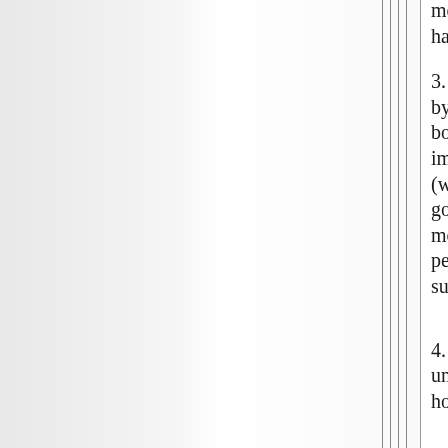more expensive than they have ever been
3. housing prices have risen by more in real terms in this boom than in any, save the immediate post war boom (when the GIs returned, and government policy opened up mortgages to working class people). Actually it has now surpassed that boom.
4. there has been an unpredented explosion both in home equity